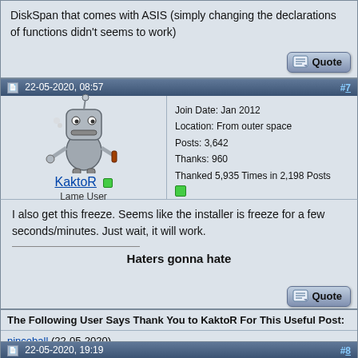DiskSpan that comes with ASIS (simply changing the declarations of functions didn't seems to work)
[Figure (screenshot): Quote button]
22-05-2020, 08:57  #7
[Figure (illustration): Bender robot avatar for user KaktoR]
KaktoR
Lame User
Join Date: Jan 2012
Location: From outer space
Posts: 3,642
Thanks: 960
Thanked 5,935 Times in 2,198 Posts
I also get this freeze. Seems like the installer is freeze for a few seconds/minutes. Just wait, it will work.

Haters gonna hate
[Figure (screenshot): Quote button]
The Following User Says Thank You to KaktoR For This Useful Post:
pincoball (22-05-2020)
22-05-2020, 19:19  #8
Join Date: May 2011
Location: Brazil